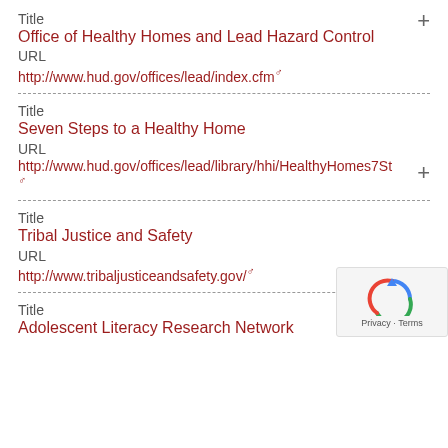Title
Office of Healthy Homes and Lead Hazard Control
URL
http://www.hud.gov/offices/lead/index.cfm
Title
Seven Steps to a Healthy Home
URL
http://www.hud.gov/offices/lead/library/hhi/HealthyHomes7St
Title
Tribal Justice and Safety
URL
http://www.tribaljusticeandsafety.gov/
Title
Adolescent Literacy Research Network